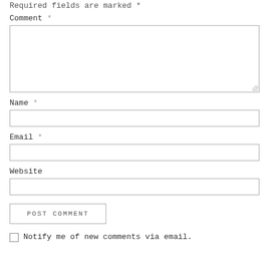Required fields are marked *
Comment *
[Figure (other): Textarea input box for comment]
Name *
[Figure (other): Single-line text input for Name]
Email *
[Figure (other): Single-line text input for Email]
Website
[Figure (other): Single-line text input for Website]
[Figure (other): POST COMMENT button]
Notify me of new comments via email.